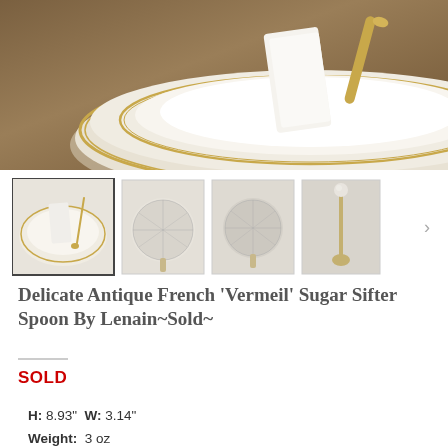[Figure (photo): Antique white plates with gold rope trim stacked on a wooden table, with a white napkin and gold sugar sifter spoon resting on top]
[Figure (photo): Thumbnail row showing four images: (1) full plate setting with spoon, (2) close-up of round sugar sifter head, (3) another close-up of round sugar sifter head, (4) full spoon on light background]
Delicate Antique French ‘Vermeil’ Sugar Sifter Spoon By Lenain~Sold~
SOLD
H: 8.93"  W: 3.14"
Weight:  3 oz